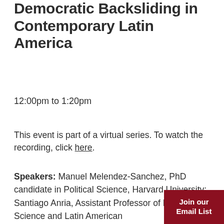Democratic Backsliding in Contemporary Latin America
12:00pm to 1:20pm
This event is part of a virtual series. To watch the recording, click here.
Speakers: Manuel Melendez-Sanchez, PhD candidate in Political Science, Harvard University; Santiago Anria, Assistant Professor of Political Science and Latin American ... Dickinson College; Calla Hummel, Assistant Professor in Political Science, University of Miami; Carmen Aída Lazo, Dean of the School